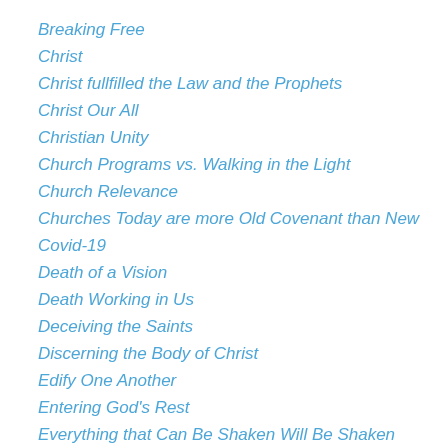Breaking Free
Christ
Christ fullfilled the Law and the Prophets
Christ Our All
Christian Unity
Church Programs vs. Walking in the Light
Church Relevance
Churches Today are more Old Covenant than New
Covid-19
Death of a Vision
Death Working in Us
Deceiving the Saints
Discerning the Body of Christ
Edify One Another
Entering God's Rest
Everything that Can Be Shaken Will Be Shaken
Faith
Faith that Moves God
Faithfulness
False Bible Teachers